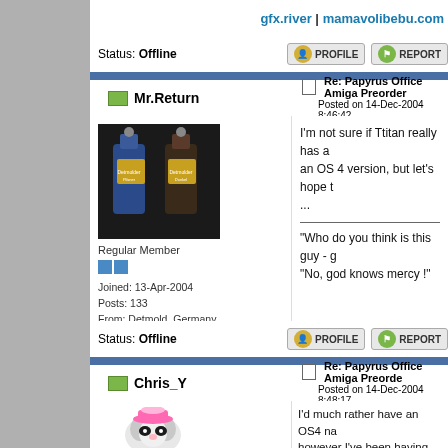gfx.river | mamavolibebu.com
Status: Offline
[Figure (screenshot): Profile and Report buttons]
Mr.Return
Re: Papyrus Office Amiga Preorde: Posted on 14-Dec-2004 8:46:42
[Figure (photo): Two bottles of German beer (Detmolder Pilsner style) with ceramic caps]
Regular Member
Joined: 13-Apr-2004
Posts: 133
From: Detmold, Germany
I'm not sure if Ttitan really has an OS 4 version, but let's hope t...
"Who do you think is this guy - g
"No, god knows mercy !"
Status: Offline
[Figure (screenshot): Profile and Report buttons]
Chris_Y
Re: Papyrus Office Amiga Preorde: Posted on 14-Dec-2004 8:48:17
[Figure (illustration): Cartoon raccoon character with pink hat]
I'd much rather have an OS4 na however I've been having serious with Wordworth since the OS4 u even the 68k version is tempting